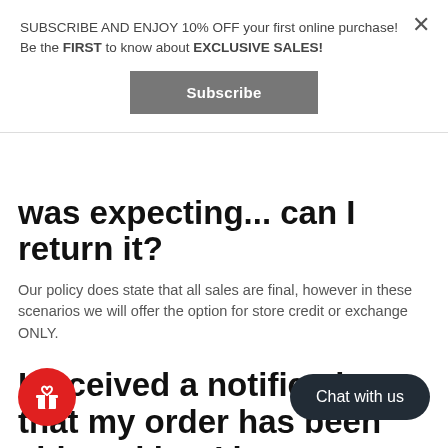SUBSCRIBE AND ENJOY 10% OFF your first online purchase! Be the FIRST to know about EXCLUSIVE SALES!
Subscribe
was expecting... can I return it?
Our policy does state that all sales are final, however in these scenarios we will offer the option for store credit or exchange ONLY.
I received a notification that my order has been shipped but I have not seen any tracking updates yet. When will it update?
Chat with us